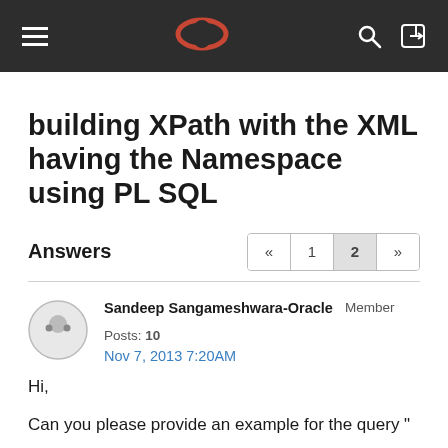Oracle Community navigation header with hamburger menu, Oracle logo, search and login icons
building XPath with the XML having the Namespace using PL SQL
Answers
Sandeep Sangameshwara-Oracle   Member   Posts: 10
Nov 7, 2013 7:20AM
Hi,
Can you please provide an example for the query "